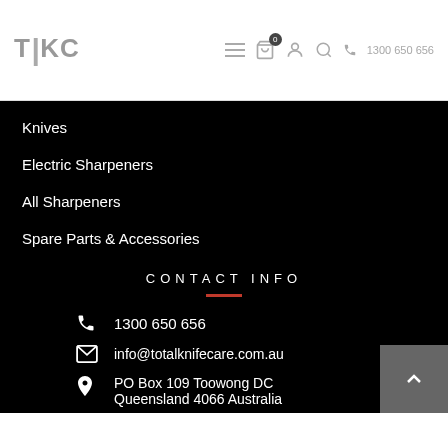TKC | 1300 650 656
Knives
Electric Sharpeners
All Sharpeners
Spare Parts & Accessories
CONTACT INFO
1300 650 656
info@totalknifecare.com.au
PO Box 109 Toowong DC Queensland 4066 Australia